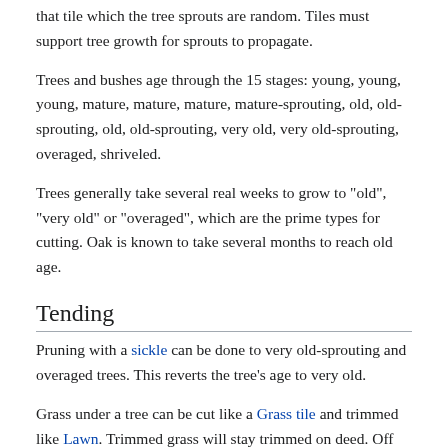that tile which the tree sprouts are random. Tiles must support tree growth for sprouts to propagate.
Trees and bushes age through the 15 stages: young, young, young, mature, mature, mature, mature-sprouting, old, old-sprouting, old, old-sprouting, very old, very old-sprouting, overaged, shriveled.
Trees generally take several real weeks to grow to "old", "very old" or "overaged", which are the prime types for cutting. Oak is known to take several months to reach old age.
Tending
Pruning with a sickle can be done to very old-sprouting and overaged trees. This reverts the tree's age to very old.
Grass under a tree can be cut like a Grass tile and trimmed like Lawn. Trimmed grass will stay trimmed on deed. Off deed and in perimeter trimmed grass will revert to wild grass quickly. Wild grass will spread from trimmed tree tiles to adjacent dirt tiles.
Tree Types